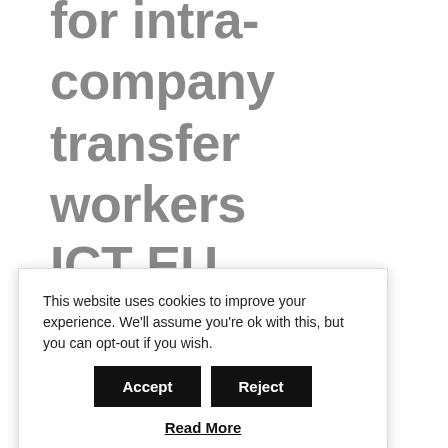for intra-company transfer workers ICT EU
l be tend to ee iin:
This website uses cookies to improve your experience. We'll assume you're ok with this, but you can opt-out if you wish. Accept Reject Read More
Workers who need to carry